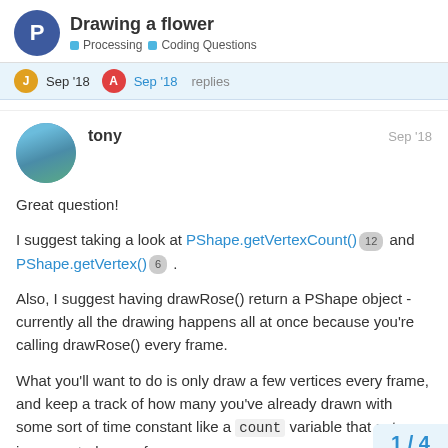Drawing a flower — Processing · Coding Questions
Sep '18   Sep '18   replies
tony   Sep '18
Great question!
I suggest taking a look at PShape.getVertexCount() 12 and PShape.getVertex() 6 .
Also, I suggest having drawRose() return a PShape object - currently all the drawing happens all at once because you're calling drawRose() every frame.
What you'll want to do is only draw a few vertices every frame, and keep a track of how many you've already drawn with some sort of time constant like a count variable that gets incremented every frame.
1 / 4